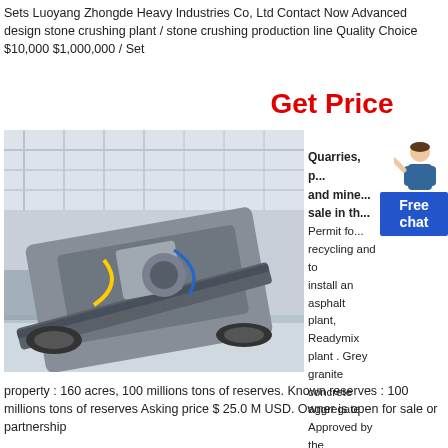Sets Luoyang Zhongde Heavy Industries Co, Ltd Contact Now Advanced design stone crushing plant / stone crushing production line Quality Choice $10,000 $1,000,000 / Set
Get Price
[Figure (photo): A large mobile stone crushing machine on tracks, photographed inside an industrial warehouse or exhibition hall with a bright corrugated roof.]
[Figure (photo): A female customer service representative figure used as a UI element.]
Free chat
Quarries, p... and mine... sale in th... Permit fo... recycling and to install an asphalt plant, Readymix plant . Grey granite concrete aggregate Approved by the USMCE - Caltrans certied . Size of
property : 160 acres, 100 millions tons of reserves. Known reserves : 100 millions tons of reserves Asking price $ 25.0 M USD. Owner is open for sale or partnership